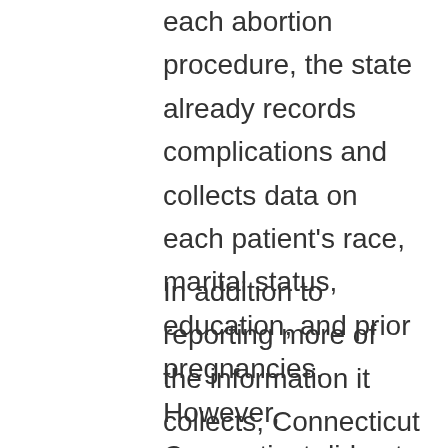each abortion procedure, the state already records complications and collects data on each patient's race, marital status, education, and prior pregnancies. However, Connecticut did not make a summary of this information available in the report provided to CLI.
In addition to reporting more of the information it collects, Connecticut should make its report more accessible. Currently, the annual report is not available online and must be requested